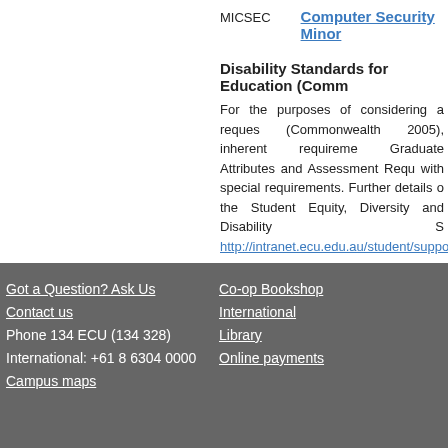MICSEC    Computer Security Minor
Disability Standards for Education (Comm
For the purposes of considering a reques (Commonwealth 2005), inherent requireme Graduate Attributes and Assessment Requ with special requirements. Further details o the Student Equity, Diversity and Disability S http://intranet.ecu.edu.au/student/support/st
Last Updated - Higher Education: 31/03/2008 VET: 31/
Got a Question? Ask Us
Contact us
Phone 134 ECU (134 328)
International: +61 8 6304 0000
Campus maps
Co-op Bookshop
International
Library
Online payments